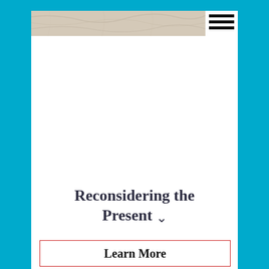[Figure (illustration): Marble or stone texture banner bar at the top of the white content area, serving as a header background]
[Figure (other): Hamburger menu icon (three horizontal black lines) in the top right of the header area]
Reconsidering the Present
Learn More